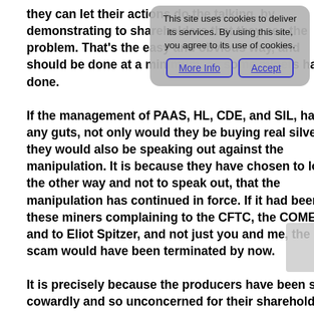they can let their actions do the talking, by demonstrating to shareholders that they see the problem. That's the easy and obvious way, and should be done at a minimum, as some miners have done.
If the management of PAAS, HL, CDE, and SIL, had any guts, not only would they be buying real silver, they would also be speaking out against the manipulation. It is because they have chosen to look the other way and not to speak out, that the manipulation has continued in force. If it had been these miners complaining to the CFTC, the COMEX and to Eliot Spitzer, and not just you and me, the scam would have been terminated by now.
It is precisely because the producers have been so cowardly and so unconcerned for their shareholders